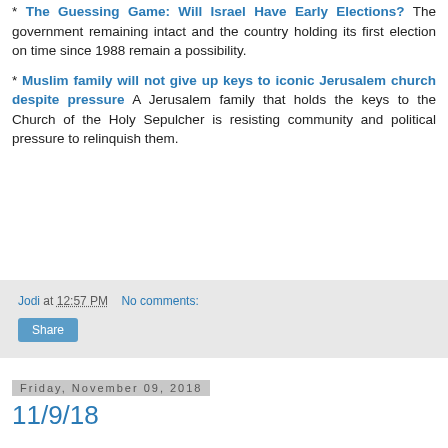* The Guessing Game: Will Israel Have Early Elections? The government remaining intact and the country holding its first election on time since 1988 remain a possibility.
* Muslim family will not give up keys to iconic Jerusalem church despite pressure A Jerusalem family that holds the keys to the Church of the Holy Sepulcher is resisting community and political pressure to relinquish them.
Jodi at 12:57 PM   No comments:   Share
Friday, November 09, 2018
11/9/18